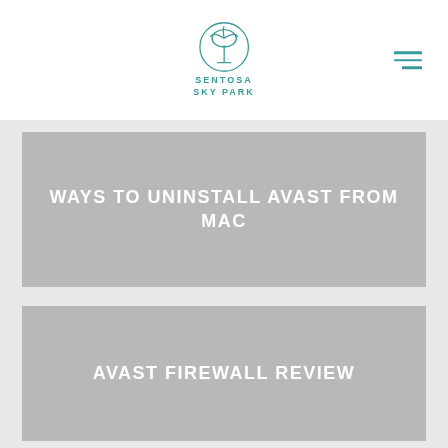SENTOSA SKY PARK
[Figure (illustration): Gray placeholder card with white bold uppercase text: WAYS TO UNINSTALL AVAST FROM MAC]
[Figure (illustration): Gray placeholder card with white bold uppercase text: AVAST FIREWALL REVIEW]